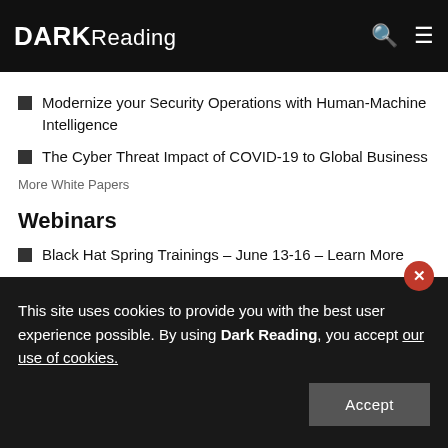DARK Reading
Modernize your Security Operations with Human-Machine Intelligence
The Cyber Threat Impact of COVID-19 to Global Business
More White Papers
Webinars
Black Hat Spring Trainings – June 13-16 – Learn More
This site uses cookies to provide you with the best user experience possible. By using Dark Reading, you accept our use of cookies.
Accept